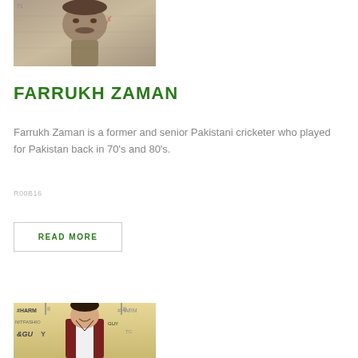[Figure (photo): Black and white photo of a man from chest up, appears to be an older passport-style or ID photo with some markings]
FARRUKH ZAMAN
Farrukh Zaman is a former and senior Pakistani cricketer who played for Pakistan back in 70's and 80's.
R00B16
READ MORE
[Figure (photo): Photo of a young man in a maroon suit smiling, standing in front of event backdrop with logos including TONI&GUY and #HARMEEI]